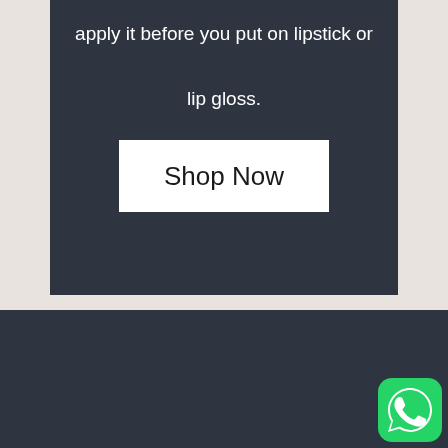apply it before you put on lipstick or lip gloss.
Shop Now
[Figure (logo): WhatsApp icon - green circle with white phone/chat bubble logo]